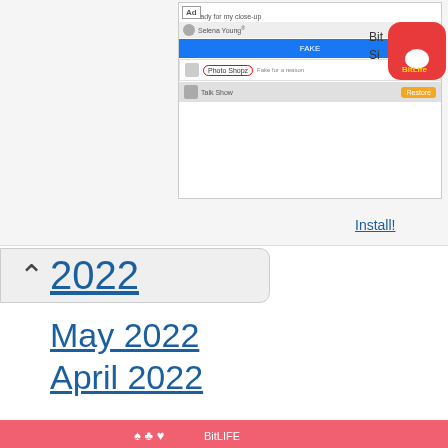[Figure (screenshot): Advertisement banner at top of page showing a mobile app ad with 'I'm ready for my close-up' text, Photo Shopz app listing, BitLife app icon, and Install! link]
2022
May 2022
April 2022
March 2022
February 2022
January 2022
December 2021
November 2021
[Figure (screenshot): Bottom advertisement banner in pink/red color]